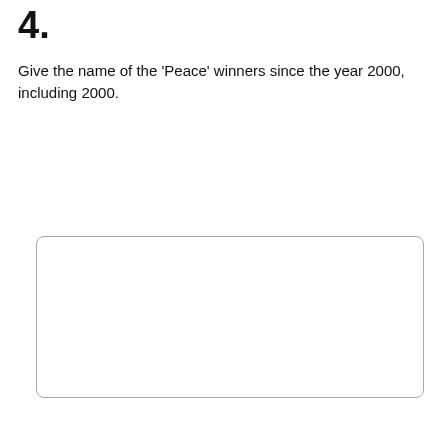4.
Give the name of the 'Peace' winners since the year 2000, including 2000.
[Figure (screenshot): A blank SQL text input area with rounded border]
[Figure (screenshot): Submit SQL button (blue, rounded) and Restore default button (white, rounded border)]
[Figure (screenshot): Result box with light green-grey background containing label 'result']